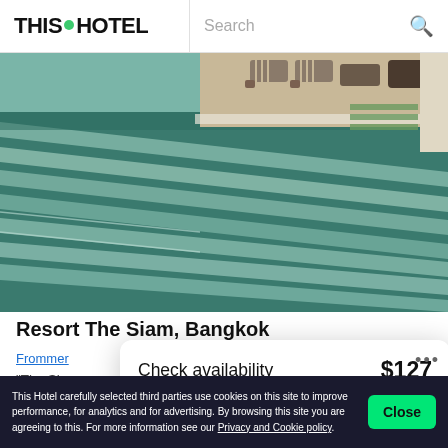THIS HOTEL — Search
[Figure (photo): Aerial view of a luxury hotel swimming pool with lounge chairs and striped blue-green water reflections]
Resort The Siam, Bangkok
Frommer
Check availability   $127
"The Siam, opened in 2013, is something very special,
This Hotel carefully selected third parties use cookies on this site to improve performance, for analytics and for advertising. By browsing this site you are agreeing to this. For more information see our Privacy and Cookie policy.